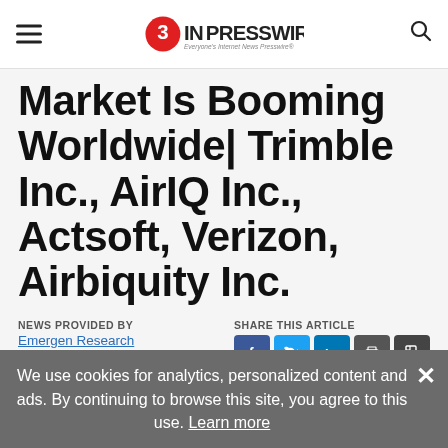EINPresswire — Everyone's Internet News Presswire
Market Is Booming Worldwide| Trimble Inc., AirIQ Inc., Actsoft, Verizon, Airbiquity Inc.
NEWS PROVIDED BY
Emergen Research
May 16, 2022, 16:08 GMT
SHARE THIS ARTICLE
We use cookies for analytics, personalized content and ads. By continuing to browse this site, you agree to this use. Learn more